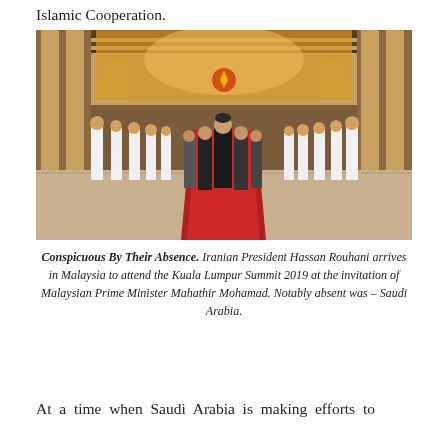Islamic Cooperation.
[Figure (photo): Iranian President Hassan Rouhani walking down a red carpet in a grand hall, flanked by rows of honor guards in white uniforms, arriving in Malaysia for the Kuala Lumpur Summit 2019.]
Conspicuous By Their Absence. Iranian President Hassan Rouhani arrives in Malaysia to attend the Kuala Lumpur Summit 2019 at the invitation of Malaysian Prime Minister Mahathir Mohamad. Notably absent was – Saudi Arabia.
At a time when Saudi Arabia is making efforts to